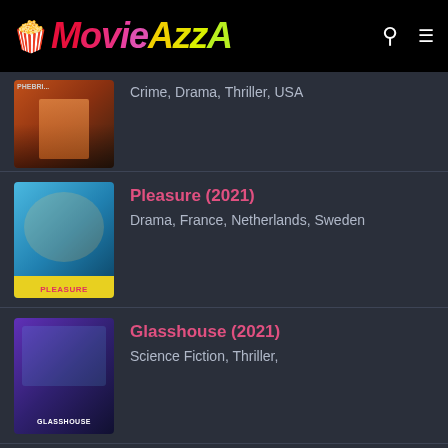[Figure (screenshot): MovieAzzA website header with logo (popcorn emoji, 'Movie' in red/pink gradient italic, 'AzzA' in yellow-green italic), search icon, and hamburger menu icon on black background]
[partially visible movie] Crime, Drama, Thriller, USA
Pleasure (2021) — Drama, France, Netherlands, Sweden
Glasshouse (2021) — Science Fiction, Thriller,
A un paso de mí (2021) — Uncategorized, Costa Rica